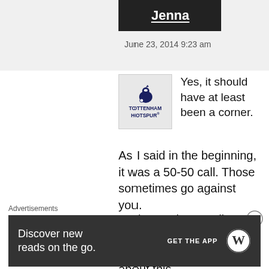Jenna
June 23, 2014 9:23 am
Yes, it should have at least been a corner.
As I said in the beginning, it was a 50-50 call. Those sometimes go against you.
And I'm going to tell you something because I'm tired of getting yelled at about this.
Advertisements
Discover new reads on the go.
GET THE APP